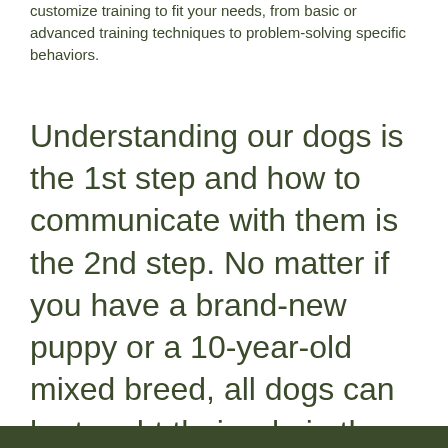customize training to fit your needs, from basic or advanced training techniques to problem-solving specific behaviors.
Understanding our dogs is the 1st step and how to communicate with them is the 2nd step. No matter if you have a brand-new puppy or a 10-year-old mixed breed, all dogs can be taught their role in the household, so they are content and happy dogs.